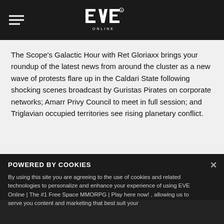EVE Online — navigation header with hamburger menu and logo
The Scope's Galactic Hour with Ret Gloriaxx brings your roundup of the latest news from around the cluster as a new wave of protests flare up in the Caldari State following shocking scenes broadcast by Guristas Pirates on corporate networks; Amarr Privy Council to meet in full session; and Triglavian occupied territories see rising planetary conflict.
[Figure (photo): Dark space scene with planetary body partially visible, brownish-orange glow against star field]
POWERED BY COOKIES
By using this site you are agreeing to the use of cookies and related technologies to personalize and enhance your experience of using EVE Online | The #1 Free Space MMORPG | Play here now! , allowing us to serve you content and marketing that best suit your